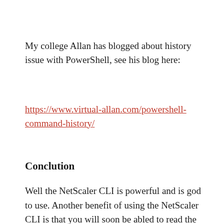My college Allan has blogged about history issue with PowerShell, see his blog here:
https://www.virtual-allan.com/powershell-command-history/
Conclution
Well the NetScaler CLI is powerful and is god to use. Another benefit of using the NetScaler CLI is that you will soon be abled to read the full NetScaler